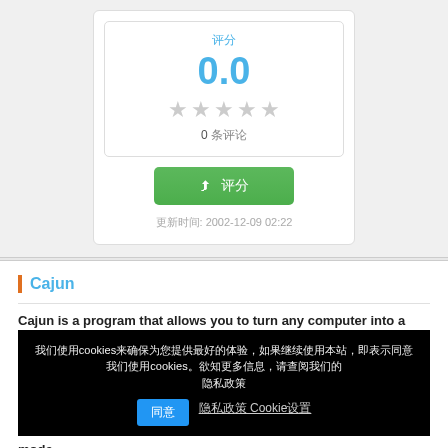[Figure (screenshot): App rating card showing score 0.0 with 5 empty stars, 0 reviews, a green button with icon, and date 2002-12-09 02:22]
Cajun
Cajun is a program that allows you to turn any computer into a
[Figure (screenshot): Cookie consent overlay banner in black with Chinese text about cookies, a blue confirm button and two text links]
mode.